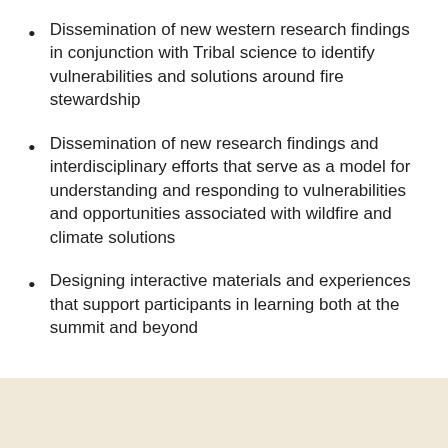Dissemination of new western research findings in conjunction with Tribal science to identify vulnerabilities and solutions around fire stewardship
Dissemination of new research findings and interdisciplinary efforts that serve as a model for understanding and responding to vulnerabilities and opportunities associated with wildfire and climate solutions
Designing interactive materials and experiences that support participants in learning both at the summit and beyond